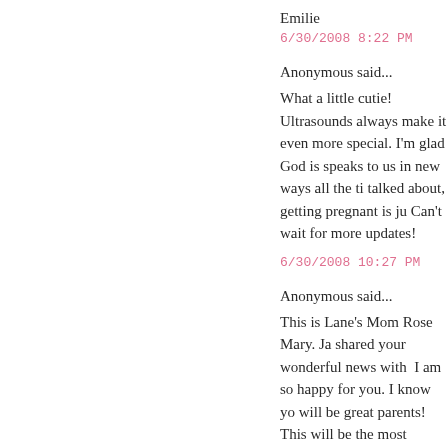Emilie
6/30/2008 8:22 PM
Anonymous said...
What a little cutie! Ultrasounds always make it even more special. I'm glad God is good and speaks to us in new ways all the ti... talked about, getting pregnant is ju... Can't wait for more updates!
6/30/2008 10:27 PM
Anonymous said...
This is Lane's Mom Rose Mary. Ja... shared your wonderful news with ... I am so happy for you. I know you will be great parents! This will be the most exciting time of your lives. There is nothing mo... precious than a new baby. God is blessing you and will take